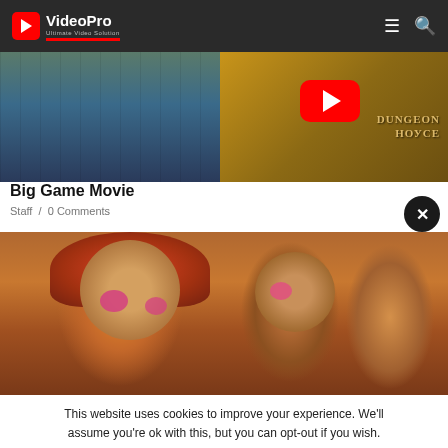VideoPro - Ultimate Video Solution
[Figure (screenshot): Website screenshot showing VideoPro navigation header with logo, hamburger menu and search icons, article thumbnails including a YouTube-style video thumbnail with dungeon game imagery, article title 'Big Game Movie', metadata 'Staff / 0 Comments', a close button, and a large photo of crochet dolls in a row]
Big Game Movie
Staff /  0 Comments
This website uses cookies to improve your experience. We'll assume you're ok with this, but you can opt-out if you wish.
Accept   Read More